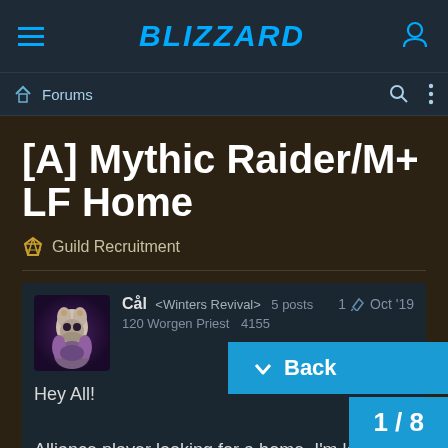Blizzard Forums – Navigation bar with hamburger menu, Blizzard logo, and user icon
Forums breadcrumb bar with search and options icons
[A] Mythic Raider/M+ LF Home
Guild Recruitment
Cål <Winters Revival>  5 posts  1  Oct '19
120 Worgen Priest  4155
Hey All!

Alliance player looking for a home. I'm looking for a guild whose focus is PVE content anything. I went 7/8 M, 8/9 M, and